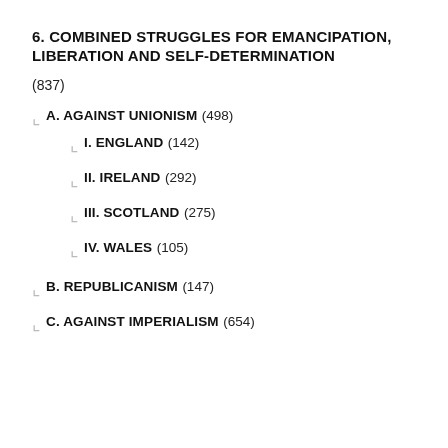6. COMBINED STRUGGLES FOR EMANCIPATION, LIBERATION AND SELF-DETERMINATION
(837)
A. AGAINST UNIONISM (498)
I. ENGLAND (142)
II. IRELAND (292)
III. SCOTLAND (275)
IV. WALES (105)
B. REPUBLICANISM (147)
C. AGAINST IMPERIALISM (654)